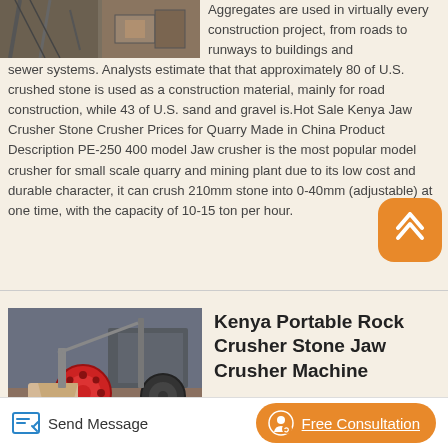[Figure (photo): Industrial construction/crusher equipment photo at top left]
Aggregates are used in virtually every construction project, from roads to runways to buildings and sewer systems. Analysts estimate that that approximately 80 of U.S. crushed stone is used as a construction material, mainly for road construction, while 43 of U.S. sand and gravel is.Hot Sale Kenya Jaw Crusher Stone Crusher Prices for Quarry Made in China Product Description PE-250 400 model Jaw crusher is the most popular model crusher for small scale quarry and mining plant due to its low cost and durable character, it can crush 210mm stone into 0-40mm (adjustable) at one time, with the capacity of 10-15 ton per hour.
[Figure (photo): Kenya Portable Rock Crusher Stone Jaw Crusher Machine product photo]
Kenya Portable Rock Crusher Stone Jaw Crusher Machine
Send Message   Free Consultation